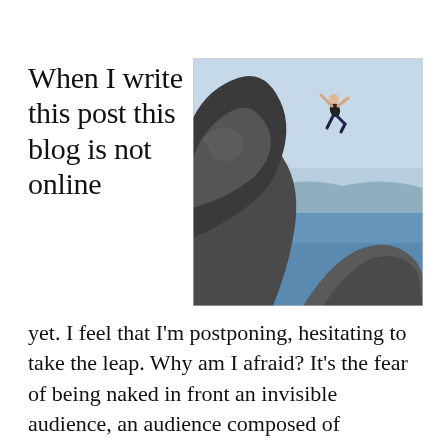When I write this post this blog is not online
[Figure (photo): A person leaping off a large rocky cliff over open blue water, with mountains visible in the background under a clear sky.]
yet. I feel that I'm postponing, hesitating to take the leap. Why am I afraid? It's the fear of being naked in front an invisible audience, an audience composed of